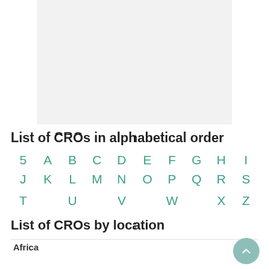[Figure (other): Advertisement or image placeholder, light gray background]
List of CROs in alphabetical order
5 A B C D E F G H I J K L M N O P Q R S T U V W X Z
List of CROs by location
Africa